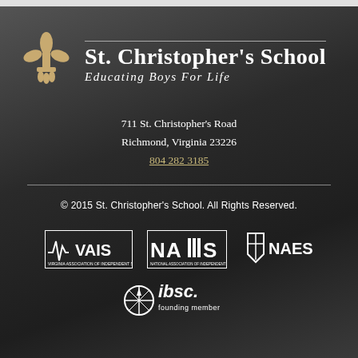[Figure (logo): St. Christopher's School fleur-de-lis logo in tan/gold color]
St. Christopher's School
Educating Boys For Life
711 St. Christopher's Road
Richmond, Virginia 23226
804 282 3185
© 2015 St. Christopher's School. All Rights Reserved.
[Figure (logo): VAIS - Virginia Association of Independent Schools logo]
[Figure (logo): NAIS - National Association of Independent Schools logo]
[Figure (logo): NAES logo with shield]
[Figure (logo): IBSC founding member logo with compass rose]